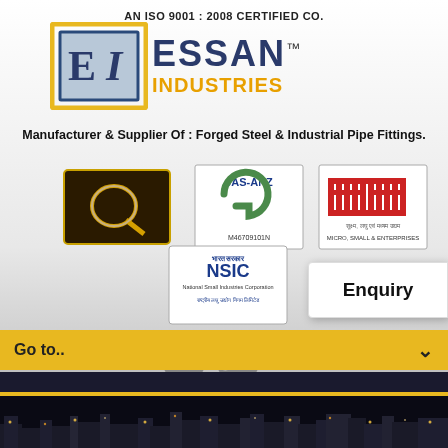AN ISO 9001 : 2008 CERTIFIED CO.
[Figure (logo): Essan Industries logo with EI monogram in square frame and ESSAN INDUSTRIES text in gold/navy with trademark symbol]
Manufacturer & Supplier Of : Forged Steel & Industrial Pipe Fittings.
[Figure (logo): Quality certification logo - dark background with stylized Q and arrow]
[Figure (logo): JAS-ANZ certification logo with G symbol and number M46709101N]
[Figure (logo): MSME Ministry certification logo - Micro Small and Enterprises]
[Figure (logo): NSIC National Small Industries Corporation certification logo]
[Figure (illustration): Enquiry button with white background]
[Figure (illustration): Social media icons - Facebook, Twitter, Google Plus circles in grey]
Go to..
[Figure (photo): Nighttime city/industrial skyline panorama at bottom of page]